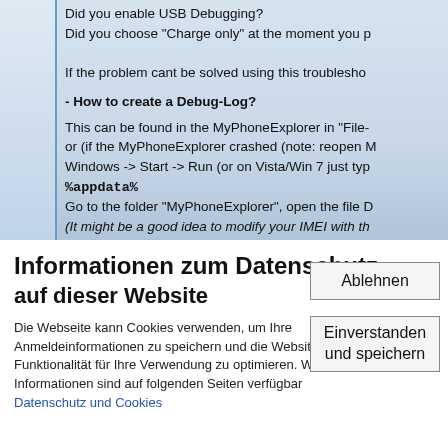Did you enable USB Debugging?
Did you choose "Charge only" at the moment you p

If the problem cant be solved using this troublesho

- How to create a Debug-Log?

This can be found in the MyPhoneExplorer in "File-
or (if the MyPhoneExplorer crashed (note: reopen M
Windows -> Start -> Run (or on Vista/Win 7 just typ
%appdata%
Go to the folder "MyPhoneExplorer", open the file D
(It might be a good idea to modify your IMEI with th

- Is my phone supported by MyPhoneExplorer?
An up-to-date list can be consulted here:
http://www.fjsoft.at/de/supportedphones.php
Informationen zum Datenschutz
auf dieser Website
Die Webseite kann Cookies verwenden, um Ihre Anmeldeinformationen zu speichern und die Website-Funktionalität für Ihre Verwendung zu optimieren. Weitere Informationen sind auf folgenden Seiten verfügbar Datenschutz und Cookies
Ablehnen
Einverstanden und speichern